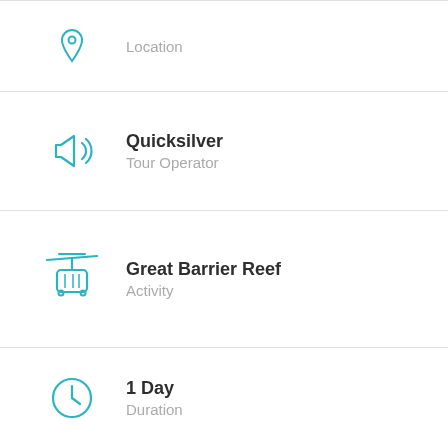Location
Quicksilver
Tour Operator
Great Barrier Reef
Activity
1 Day
Duration
Book Now